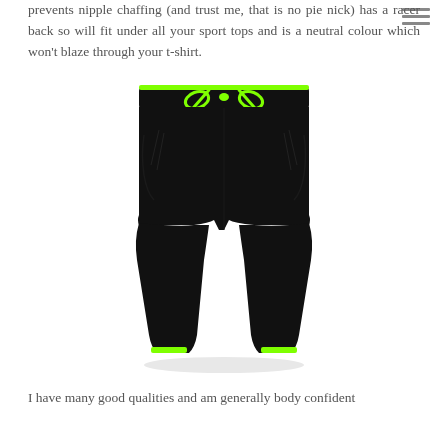prevents nipple chaffing (and trust me, that is no pie nick) has a racer back so will fit under all your sport tops and is a neutral colour which won't blaze through your t-shirt.
[Figure (photo): Black athletic cropped pants/capris with neon green waistband trim and drawstring tie at the top, and neon green zipper details at the ankles. The pants are styled against a white background.]
I have many good qualities and am generally body confident